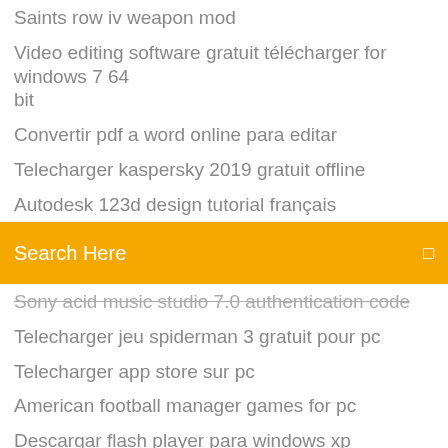Saints row iv weapon mod
Video editing software gratuit télécharger for windows 7 64 bit
Convertir pdf a word online para editar
Telecharger kaspersky 2019 gratuit offline
Autodesk 123d design tutorial français
Search Here
Sony acid music studio 7.0 authentication code
Telecharger jeu spiderman 3 gratuit pour pc
Telecharger app store sur pc
American football manager games for pc
Descargar flash player para windows xp
Chaines tv orange sur mon pc
Google chrome gratuit télécharger for windows 8
Telecharger pack langue francais windows 7 pro 64 bits
Ben and ed gratuit en ligne
Tf1 en direct gratuitement sans inscription match
Google earth mac app store